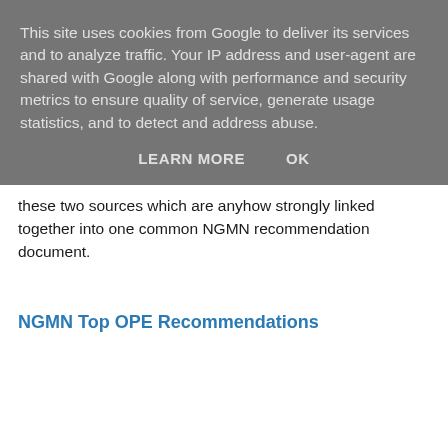This site uses cookies from Google to deliver its services and to analyze traffic. Your IP address and user-agent are shared with Google along with performance and security metrics to ensure quality of service, generate usage statistics, and to detect and address abuse.
LEARN MORE   OK
these two sources which are anyhow strongly linked together into one common NGMN recommendation document.
NGMN Top OPE Recommendations
Couldn't load plugin.